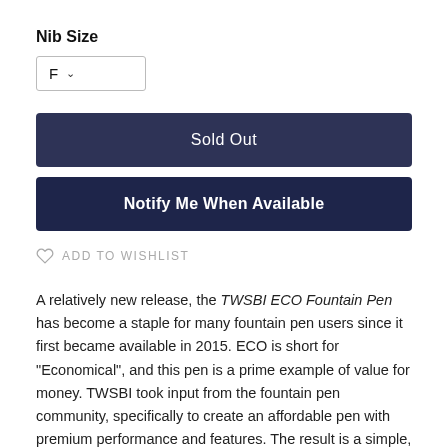Nib Size
F ∨
Sold Out
Notify Me When Available
ADD TO WISHLIST
A relatively new release, the TWSBI ECO Fountain Pen has become a staple for many fountain pen users since it first became available in 2015. ECO is short for "Economical", and this pen is a prime example of value for money. TWSBI took input from the fountain pen community, specifically to create an affordable pen with premium performance and features. The result is a simple, yet extremely effective